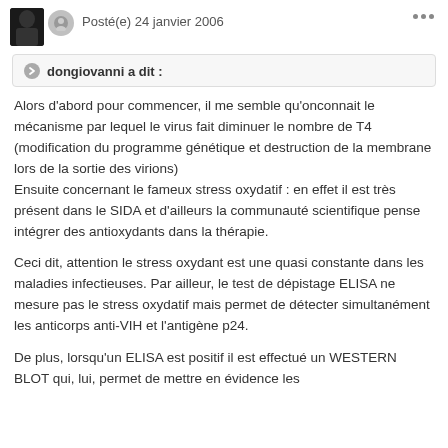Posté(e) 24 janvier 2006
dongiovanni a dit :
Alors d'abord pour commencer, il me semble qu'onconnait le mécanisme par lequel le virus fait diminuer le nombre de T4 (modification du programme génétique et destruction de la membrane lors de la sortie des virions)
Ensuite concernant le fameux stress oxydatif : en effet il est très présent dans le SIDA et d'ailleurs la communauté scientifique pense intégrer des antioxydants dans la thérapie.
Ceci dit, attention le stress oxydant est une quasi constante dans les maladies infectieuses. Par ailleur, le test de dépistage ELISA ne mesure pas le stress oxydatif mais permet de détecter simultanément les anticorps anti-VIH et l'antigène p24.
De plus, lorsqu'un ELISA est positif il est effectué un WESTERN BLOT qui, lui, permet de mettre en évidence les